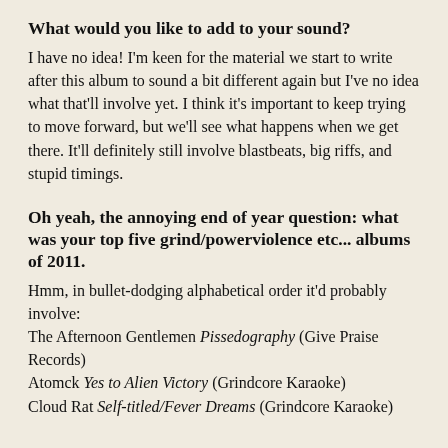What would you like to add to your sound?
I have no idea! I'm keen for the material we start to write after this album to sound a bit different again but I've no idea what that'll involve yet. I think it's important to keep trying to move forward, but we'll see what happens when we get there. It'll definitely still involve blastbeats, big riffs, and stupid timings.
Oh yeah, the annoying end of year question: what was your top five grind/powerviolence etc... albums of 2011.
Hmm, in bullet-dodging alphabetical order it'd probably involve:
The Afternoon Gentlemen Pissedography (Give Praise Records)
Atomck Yes to Alien Victory (Grindcore Karaoke)
Cloud Rat Self-titled/Fever Dreams (Grindcore Karaoke)